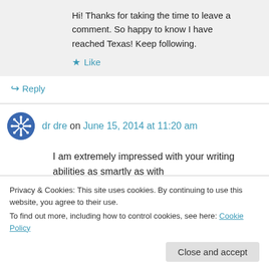Hi! Thanks for taking the time to leave a comment. So happy to know I have reached Texas! Keep following.
★ Like
↳ Reply
dr dre on June 15, 2014 at 11:20 am
I am extremely impressed with your writing abilities as smartly as with
Privacy & Cookies: This site uses cookies. By continuing to use this website, you agree to their use.
To find out more, including how to control cookies, see here: Cookie Policy
Close and accept
nice blog like this one these days.